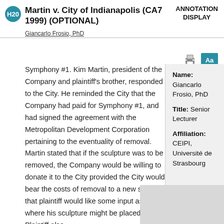Martin v. City of Indianapolis (CA7 1999) (OPTIONAL)
ANNOTATION DISPLAY
Giancarlo Frosio, PhD
Symphony #1. Kim Martin, president of the Company and plaintiff's brother, responded to the City. He reminded the City that the Company had paid for Symphony #1, and had signed the agreement with the Metropolitan Development Corporation pertaining to the eventuality of removal. Martin stated that if the sculpture was to be removed, the Company would be willing to donate it to the City provided the City would bear the costs of removal to a new site, but that plaintiff would like some input as to where his sculpture might be placed. Plaintiff also
Name: Giancarlo Frosio, PhD
Title: Senior Lecturer
Affiliation: CEIPI, Université de Strasbourg